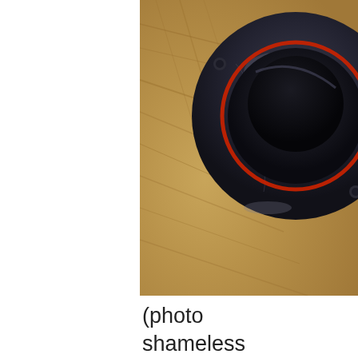[Figure (photo): Close-up macro photo of a dark metallic circular part (resembling a bottle cap or mechanical component) with a red ring visible inside, placed on a wooden surface with visible wood grain texture.]
(photo shameless stolen from David's Facebook page - here